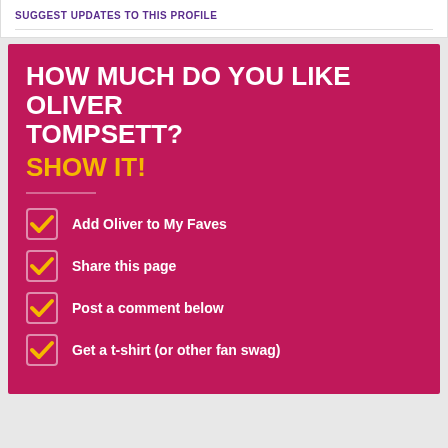SUGGEST UPDATES TO THIS PROFILE
HOW MUCH DO YOU LIKE OLIVER TOMPSETT? SHOW IT!
Add Oliver to My Faves
Share this page
Post a comment below
Get a t-shirt (or other fan swag)